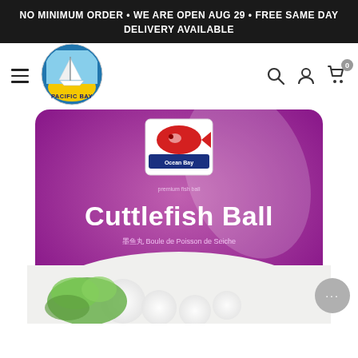NO MINIMUM ORDER • WE ARE OPEN AUG 29 • FREE SAME DAY DELIVERY AVAILABLE
[Figure (logo): Pacific Bay logo: circular emblem with a sailboat, blue sky and yellow sun, text PACIFIC BAY below]
[Figure (photo): Product photo of a purple/pink package labeled 'Cuttlefish Ball' with Ocean Bay brand logo, Chinese characters, and showing white fish balls with green herbs at the bottom]